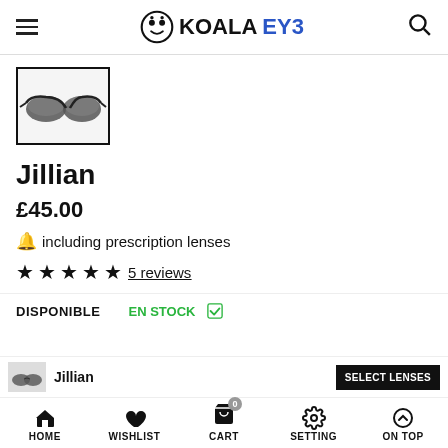KOALAEYE
[Figure (photo): Thumbnail image of Jillian sunglasses - cat-eye style with dark gradient lenses, shown against white background, inside a black border frame]
Jillian
£45.00
🔔 including prescription lenses
★★★★★ 5 reviews
DISPONIBLE   EN STOCK ☑
HOME   WISHLIST   CART   SETTING   ON TOP